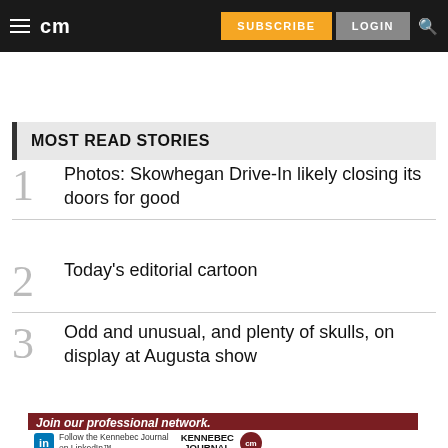cm | SUBSCRIBE | LOGIN
MOST READ STORIES
1. Photos: Skowhegan Drive-In likely closing its doors for good
2. Today's editorial cartoon
3. Odd and unusual, and plenty of skulls, on display at Augusta show
[Figure (other): Advertisement banner: Join our professional network. Follow the Kennebec Journal on LinkedIn. Kennebec Journal logo with cm circle logo.]